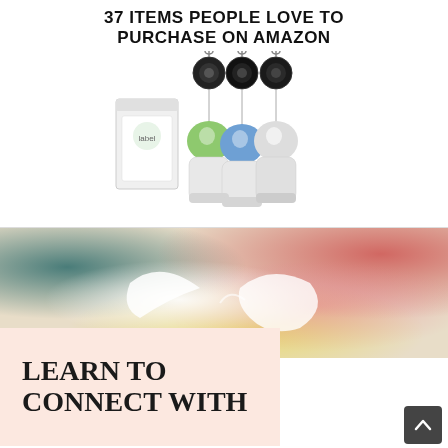37 ITEMS PEOPLE LOVE TO PURCHASE ON AMAZON
[Figure (photo): Product photo of portable silicone travel bottles with retractable badge reel holders, green, blue, and white bottles with black retractable clips, shown with product box]
[Figure (photo): Watercolor illustration of two white doves forming a heart shape with colorful abstract background in teal, yellow, red tones]
LEARN TO
CONNECT WITH